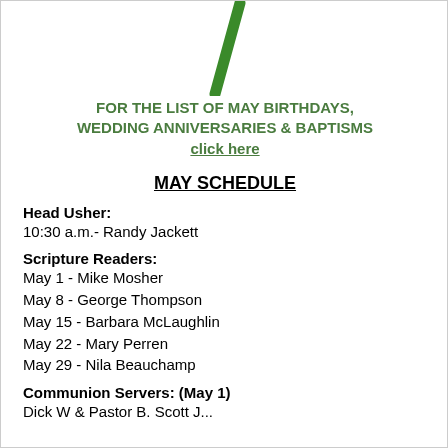[Figure (illustration): Green diagonal slash/candle graphic at top center of page]
FOR THE LIST OF MAY BIRTHDAYS, WEDDING ANNIVERSARIES & BAPTISMS click here
MAY SCHEDULE
Head Usher:
10:30 a.m.- Randy Jackett
Scripture Readers:
May 1 - Mike Mosher
May 8 - George Thompson
May 15 - Barbara McLaughlin
May 22 - Mary Perren
May 29 - Nila Beauchamp
Communion Servers: (May 1)